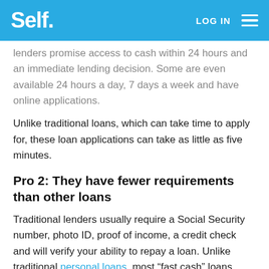Self. | LOG IN
lenders promise access to cash within 24 hours and an immediate lending decision. Some are even available 24 hours a day, 7 days a week and have online applications.
Unlike traditional loans, which can take time to apply for, these loan applications can take as little as five minutes.
Pro 2: They have fewer requirements than other loans
Traditional lenders usually require a Social Security number, photo ID, proof of income, a credit check and will verify your ability to repay a loan. Unlike traditional personal loans, most “fast cash” loans have fewer requirements to apply.
Generally, all you need to apply for a payday loan is to: